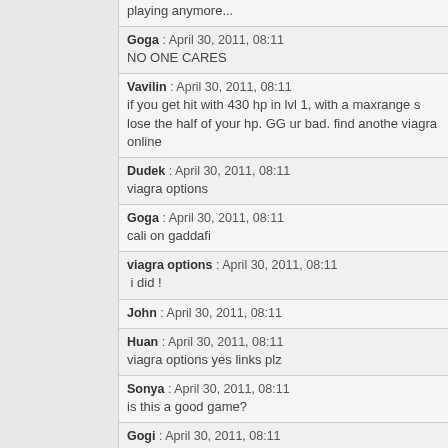playing anymore...
Goga : April 30, 2011, 08:11
NO ONE CARES
Vavilin : April 30, 2011, 08:11
if you get hit with 430 hp in lvl 1, with a maxrange s lose the half of your hp. GG ur bad. find anothe viagra online
Dudek : April 30, 2011, 08:11
viagra options
Goga : April 30, 2011, 08:11
cali on gaddafi
viagra options : April 30, 2011, 08:11
i did !
John : April 30, 2011, 08:11
Huan : April 30, 2011, 08:11
viagra options yes links plz
Sonya : April 30, 2011, 08:11
is this a good game?
Gogi : April 30, 2011, 08:11
viagra options omg how can you BUFF nidalees insane